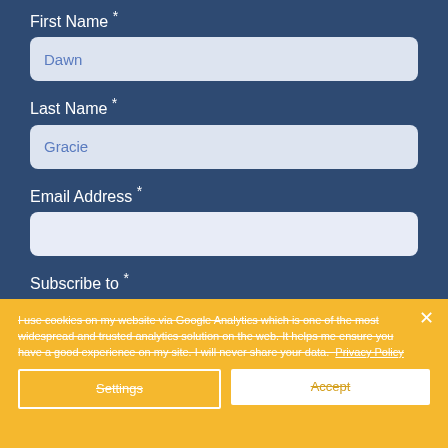First Name *
Dawn
Last Name *
Gracie
Email Address *
Subscribe to *
Burlesque/Cabaret News
I use cookies on my website via Google Analytics which is one of the most widespread and trusted analytics solution on the web. It helps me ensure you have a good experience on my site. I will never share your data.  Privacy Policy
Settings
Accept